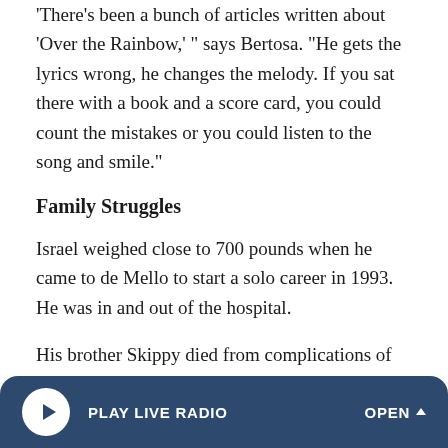'There's been a bunch of articles written about 'Over the Rainbow,' " says Bertosa. "He gets the lyrics wrong, he changes the melody. If you sat there with a book and a score card, you could count the mistakes or you could listen to the song and smile."
Family Struggles
Israel weighed close to 700 pounds when he came to de Mello to start a solo career in 1993. He was in and out of the hospital.
His brother Skippy died from complications of obesity, as had almost all of Israel's immediate family. He knew he was destined for a brief life. To de Mello, everything Israel sang